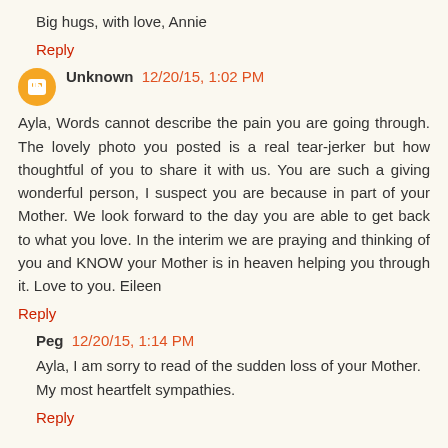Big hugs, with love, Annie
Reply
Unknown 12/20/15, 1:02 PM
Ayla, Words cannot describe the pain you are going through. The lovely photo you posted is a real tear-jerker but how thoughtful of you to share it with us. You are such a giving wonderful person, I suspect you are because in part of your Mother. We look forward to the day you are able to get back to what you love. In the interim we are praying and thinking of you and KNOW your Mother is in heaven helping you through it. Love to you. Eileen
Reply
Peg 12/20/15, 1:14 PM
Ayla, I am sorry to read of the sudden loss of your Mother. My most heartfelt sympathies.
Reply